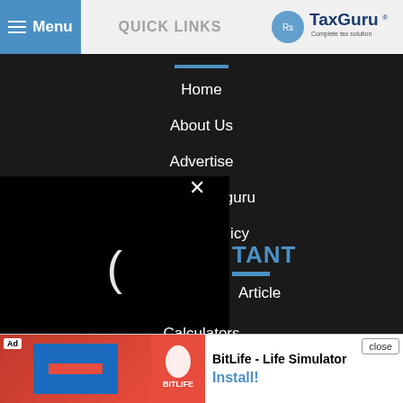Menu | QUICK LINKS | TaxGuru - Complete tax solution
Home
About Us
Advertise
Jobs at Taxguru
Privacy Policy
Disclaimer
[Figure (screenshot): Loading spinner (letter C) on black background with close X button overlay]
IMPORTANT
Article
Calculators
Downloads
Income Tax Deductions
[Figure (screenshot): Ad banner: BitLife - Life Simulator with Install button and close button]